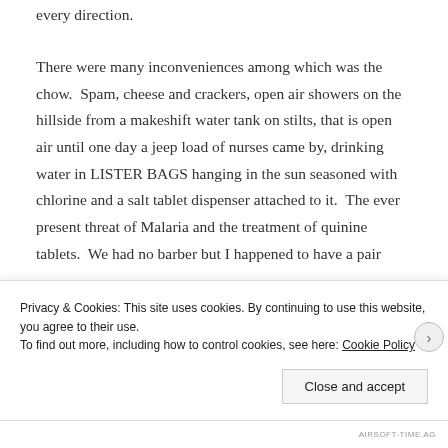every direction.
There were many inconveniences among which was the chow.  Spam, cheese and crackers, open air showers on the hillside from a makeshift water tank on stilts, that is open air until one day a jeep load of nurses came by, drinking water in LISTER BAGS hanging in the sun seasoned with chlorine and a salt tablet dispenser attached to it.  The ever present threat of Malaria and the treatment of quinine tablets.  We had no barber but I happened to have a pair
Privacy & Cookies: This site uses cookies. By continuing to use this website, you agree to their use.
To find out more, including how to control cookies, see here: Cookie Policy
Close and accept
AIRSOFT-TIME.AG